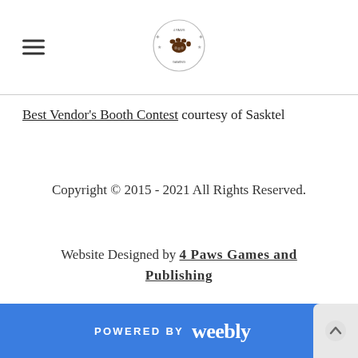[Figure (logo): Circular logo with paw print and stars, center of page header]
Best Vendor's Booth Contest courtesy of Sasktel
Copyright © 2015 - 2021 All Rights Reserved.
Website Designed by 4 Paws Games and Publishing
POWERED BY weebly